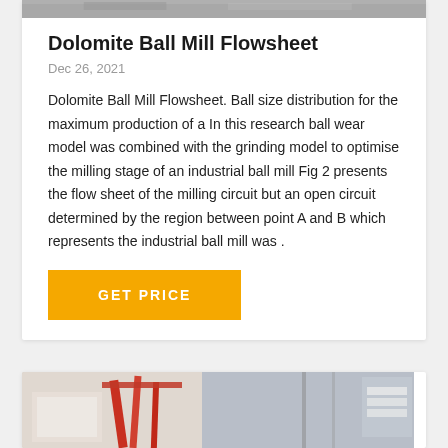[Figure (photo): Top portion of a photo (partially cropped at top), appears to be industrial/engineering equipment]
Dolomite Ball Mill Flowsheet
Dec 26, 2021
Dolomite Ball Mill Flowsheet. Ball size distribution for the maximum production of a In this research ball wear model was combined with the grinding model to optimise the milling stage of an industrial ball mill Fig 2 presents the flow sheet of the milling circuit but an open circuit determined by the region between point A and B which represents the industrial ball mill was .
[Figure (other): GET PRICE button (orange/yellow button with white bold text)]
[Figure (photo): Bottom card showing an industrial facility interior with red and white machinery/crane structures]